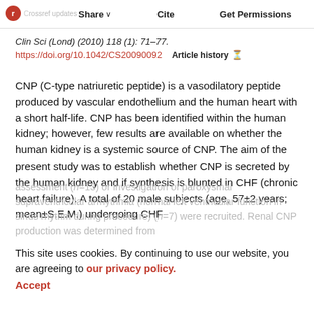Share  Cite  Get Permissions
Clin Sci (Lond) (2010) 118 (1): 71–77.
https://doi.org/10.1042/CS20090092   Article history
CNP (C-type natriuretic peptide) is a vasodilatory peptide produced by vascular endothelium and the human heart with a short half-life. CNP has been identified within the human kidney; however, few results are available on whether the human kidney is a systemic source of CNP. The aim of the present study was to establish whether CNP is secreted by the human kidney and if synthesis is blunted in CHF (chronic heart failure). A total of 20 male subjects (age, 57±2 years; mean±S.E.M.) undergoing CHF
assessment (n=13) or investigation of paroxysmal supraventricular arrhythmia (normal left ventricular function in sinus rhythm during procedure) (n=7) were recruited. Renal CNP production was determined from
This site uses cookies. By continuing to use our website, you are agreeing to our privacy policy. Accept